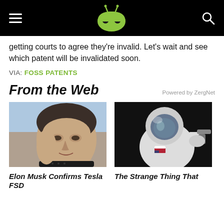AndroidAuthority header with logo and navigation
getting courts to agree they’re invalid. Let’s wait and see which patent will be invalidated soon.
VIA: FOSS PATENTS
From the Web
[Figure (photo): Photo of Elon Musk, close-up portrait]
[Figure (photo): Photo of astronaut in space suit holding a revolver]
Elon Musk Confirms Tesla FSD
The Strange Thing That